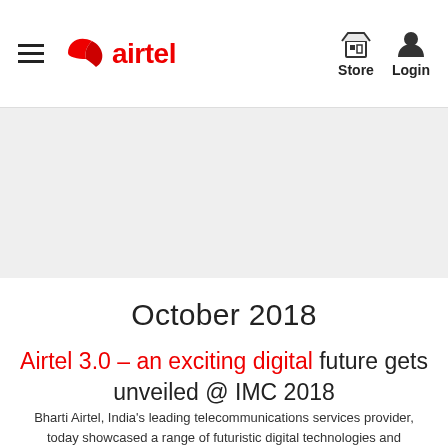airtel — Store | Login
[Figure (other): Grey banner placeholder area below navigation]
October 2018
Airtel 3.0 – an exciting digital future gets unveiled @ IMC 2018
Bharti Airtel, India's leading telecommunications services provider, today showcased a range of futuristic digital technologies and exciting products at the India…..